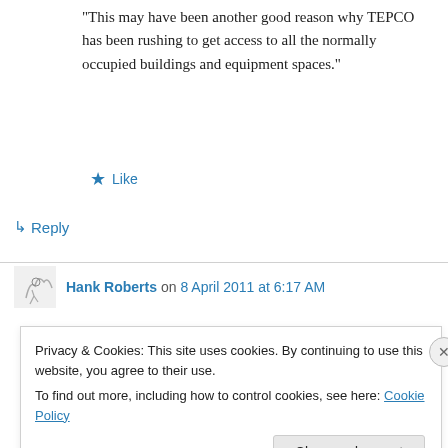“This may have been another good reason why TEPCO has been rushing to get access to all the normally occupied buildings and equipment spaces.”
★ Like
↳ Reply
Hank Roberts on 8 April 2011 at 6:17 AM
Privacy & Cookies: This site uses cookies. By continuing to use this website, you agree to their use.
To find out more, including how to control cookies, see here: Cookie Policy
Close and accept